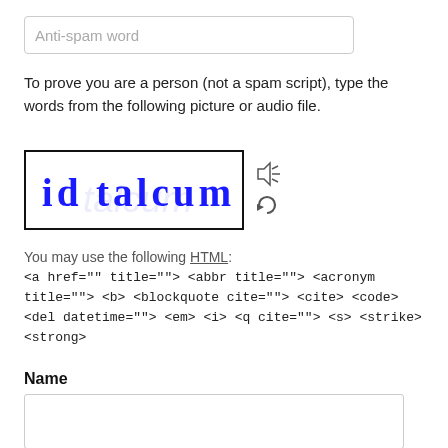Anti-spam word
To prove you are a person (not a spam script), type the words from the following picture or audio file.
[Figure (screenshot): CAPTCHA image showing handwritten blue text 'id talcum' on white background, with audio icon and refresh icon to the right]
You may use the following HTML:
<a href="" title=""> <abbr title=""> <acronym title=""> <b> <blockquote cite=""> <cite> <code> <del datetime=""> <em> <i> <q cite=""> <s> <strike> <strong>
Name
Email